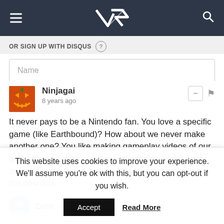[Figure (logo): Site header with hamburger menu, VR logo, and search icon on dark navy background]
OR SIGN UP WITH DISQUS
Name
Ninjagai
8 years ago
It never pays to be a Nintendo fan. You love a specific game (like Earthbound)? How about we never make another one? You like making gameplay videos of our games? How about we flag your videos? You bought the 3ds? Well, big mistake, you should've waited for the new 3ds.
1 ▲ | ▼ 2 Reply
Zach → Ninjagai
This website uses cookies to improve your experience. We'll assume you're ok with this, but you can opt-out if you wish.
Accept
Read More